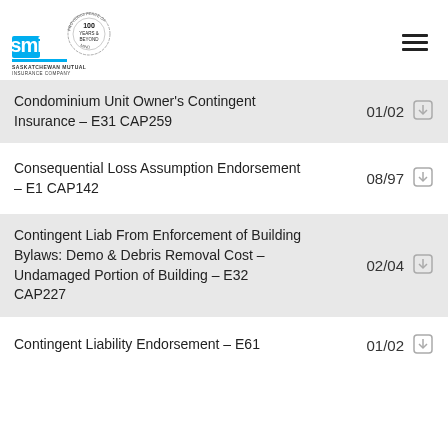[Figure (logo): Saskatchewan Mutual Insurance Company (SMI) logo with '100 Years & Beyond' badge and 'Providing Peace of Mind' circular text]
Condominium Unit Owner's Contingent Insurance – E31 CAP259 | 01/02
Consequential Loss Assumption Endorsement – E1 CAP142 | 08/97
Contingent Liab From Enforcement of Building Bylaws: Demo & Debris Removal Cost – Undamaged Portion of Building – E32 CAP227 | 02/04
Contingent Liability Endorsement – E61 | 01/02